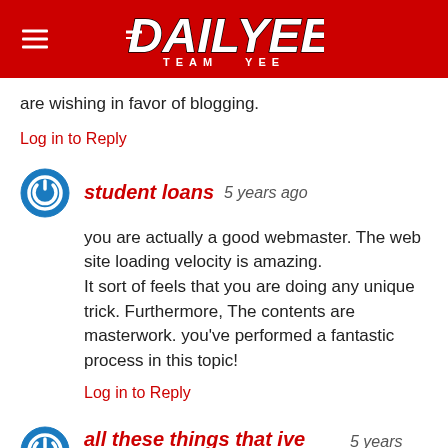DAILYEE TEAM YEE
are wishing in favor of blogging.
Log in to Reply
student loans 5 years ago
you are actually a good webmaster. The web site loading velocity is amazing. It sort of feels that you are doing any unique trick. Furthermore, The contents are masterwork. you've performed a fantastic process in this topic!
Log in to Reply
all these things that ive done 5 years ago
Hi, i think that i saw you visited my blog so i came to “return the favor”.I am attempting to